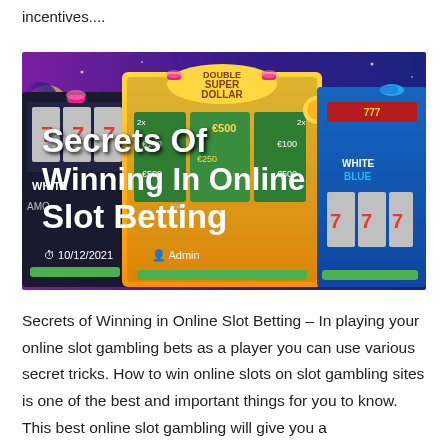incentives....
[Figure (photo): Online slot machines illustration with colorful slot machine displays showing 'Secrets Of Winning In Online Slot Betting' title overlaid in white bold text, dated 10/12/2021, by Admin]
Secrets of Winning in Online Slot Betting – In playing your online slot gambling bets as a player you can use various secret tricks. How to win online slots on slot gambling sites is one of the best and important things for you to know. This best online slot gambling will give you a